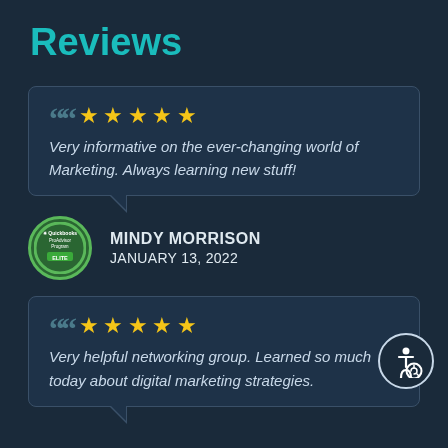Reviews
"Very informative on the ever-changing world of Marketing. Always learning new stuff!
MINDY MORRISON
JANUARY 13, 2022
"Very helpful networking group. Learned so much today about digital marketing strategies.